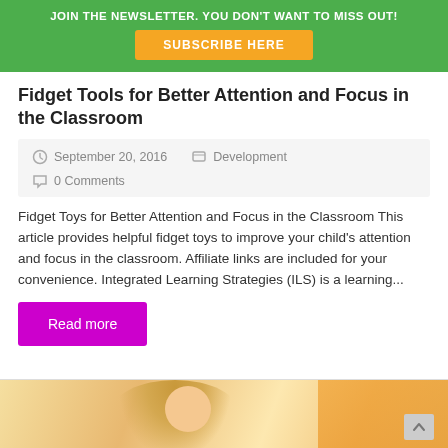JOIN THE NEWSLETTER. YOU DON'T WANT TO MISS OUT!
SUBSCRIBE HERE
Fidget Tools for Better Attention and Focus in the Classroom
September 20, 2016   Development   0 Comments
Fidget Toys for Better Attention and Focus in the Classroom This article provides helpful fidget toys to improve your child's attention and focus in the classroom. Affiliate links are included for your convenience. Integrated Learning Strategies (ILS) is a learning...
Read more
[Figure (photo): Photo of a blonde woman/girl looking down at something, partial view, with warm background tones]